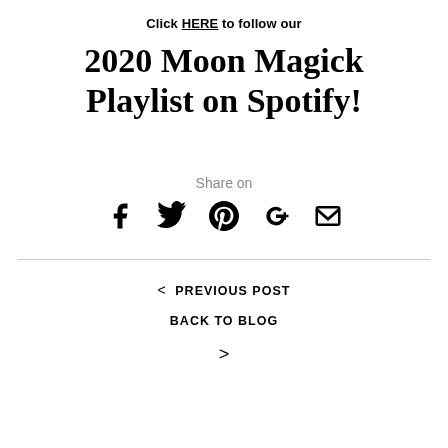Click HERE to follow our
2020 Moon Magick Playlist on Spotify!
Share on
[Figure (infographic): Social share icons: Facebook, Twitter, Pinterest, Google+, Email]
< PREVIOUS POST
BACK TO BLOG